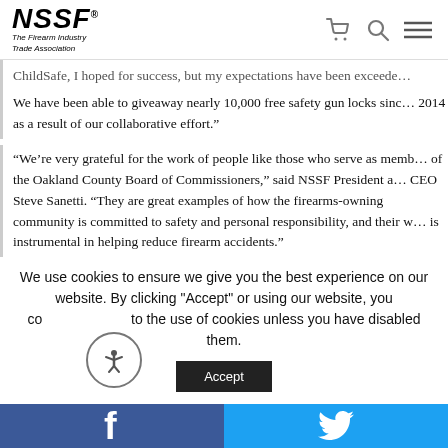NSSF The Firearm Industry Trade Association
ChildSafe, I hoped for success, but my expectations have been exceeded. We have been able to giveaway nearly 10,000 free safety gun locks since 2014 as a result of our collaborative effort."
“We’re very grateful for the work of people like those who serve as members of the Oakland County Board of Commissioners,” said NSSF President and CEO Steve Sanetti. “They are great examples of how the firearms-owning community is committed to safety and personal responsibility, and their work is instrumental in helping reduce firearm accidents.”
We use cookies to ensure we give you the best experience on our website. By clicking "Accept" or using our website, you consent to the use of cookies unless you have disabled them.
[Figure (other): Facebook share button (blue background with white 'f' icon)]
[Figure (other): Twitter share button (light blue background with white bird icon)]